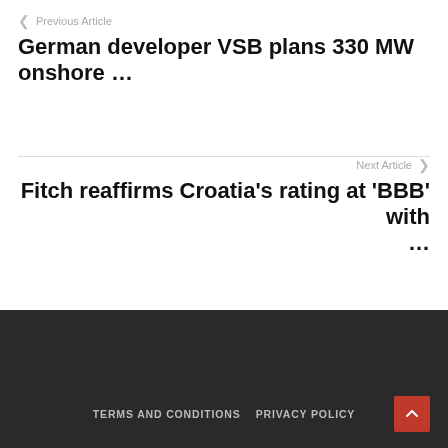❮  Previous Article
German developer VSB plans 330 MW onshore …
Next Article  ❯
Fitch reaffirms Croatia's rating at 'BBB' with …
TERMS AND CONDITIONS   PRIVACY POLICY